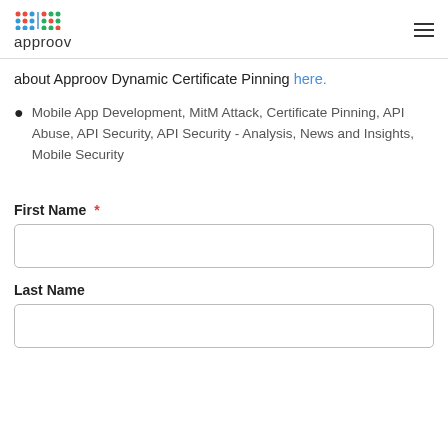approov
about Approov Dynamic Certificate Pinning here.
Mobile App Development, MitM Attack, Certificate Pinning, API Abuse, API Security, API Security - Analysis, News and Insights, Mobile Security
First Name *
Last Name